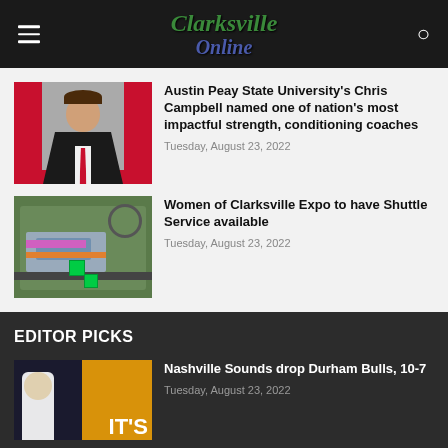Clarksville Online
[Figure (photo): Man in black suit with red tie against red background - headshot photo]
Austin Peay State University's Chris Campbell named one of nation's most impactful strength, conditioning coaches
Tuesday, August 23, 2022
[Figure (photo): Aerial view map/site plan of building complex with colored parking and green areas]
Women of Clarksville Expo to have Shuttle Service available
Tuesday, August 23, 2022
EDITOR PICKS
[Figure (photo): Baseball player with ITS text on orange background]
Nashville Sounds drop Durham Bulls, 10-7
Tuesday, August 23, 2022